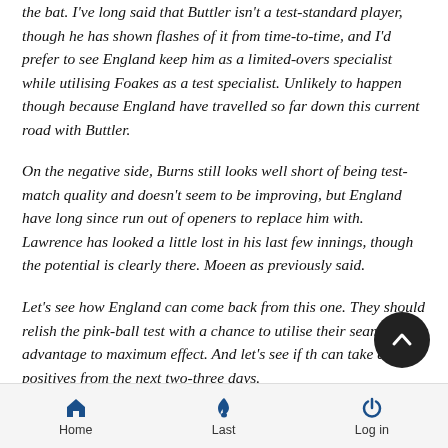the bat. I've long said that Buttler isn't a test-standard player, though he has shown flashes of it from time-to-time, and I'd prefer to see England keep him as a limited-overs specialist while utilising Foakes as a test specialist. Unlikely to happen though because England have travelled so far down this current road with Buttler.
On the negative side, Burns still looks well short of being test-match quality and doesn't seem to be improving, but England have long since run out of openers to replace him with. Lawrence has looked a little lost in his last few innings, though the potential is clearly there. Moeen as previously said.
Let's see how England can come back from this one. They should relish the pink-ball test with a chance to utilise their seaming advantage to maximum effect. And let's see if they can take any positives from the next two-three days.
Home  Last  Log in